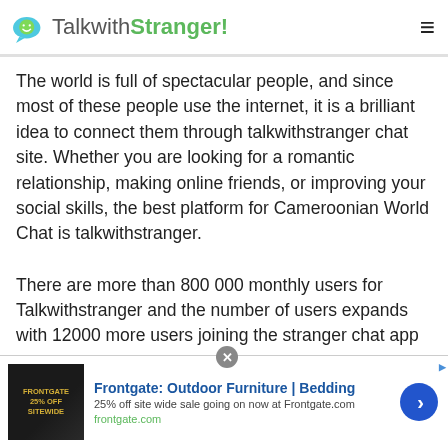TalkwithStranger!
The world is full of spectacular people, and since most of these people use the internet, it is a brilliant idea to connect them through talkwithstranger chat site. Whether you are looking for a romantic relationship, making online friends, or improving your social skills, the best platform for Cameroonian World Chat is talkwithstranger.
There are more than 800 000 monthly users for Talkwithstranger and the number of users expands with 12000 more users joining the stranger chat app every
[Figure (screenshot): Advertisement banner for Frontgate: Outdoor Furniture | Bedding. Shows 25% off sitewide sale at Frontgate.com. Includes a dark product image on left, ad text in center, and a blue chevron button on right.]